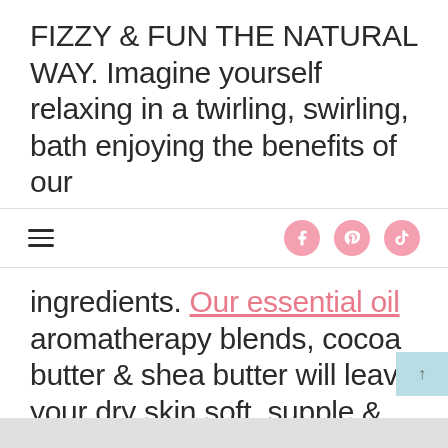FIZZY & FUN THE NATURAL WAY. Imagine yourself relaxing in a twirling, swirling, bath enjoying the benefits of our
navigation bar with hamburger menu and social icons (Facebook, Pinterest, TikTok)
ingredients. Our essential oil aromatherapy blends, cocoa butter & shea butter will leave your dry skin soft, supple & moisturized without trashing the tub!